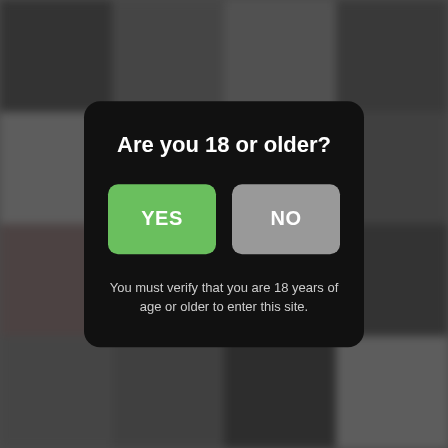[Figure (screenshot): Blurred dark mosaic background]
Are you 18 or older?
YES
NO
You must verify that you are 18 years of age or older to enter this site.